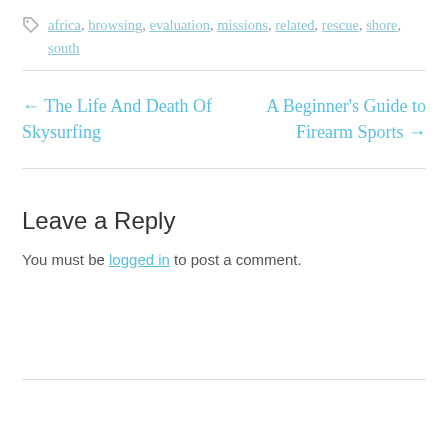africa, browsing, evaluation, missions, related, rescue, shore, south
← The Life And Death Of Skysurfing
A Beginner's Guide to Firearm Sports →
Leave a Reply
You must be logged in to post a comment.